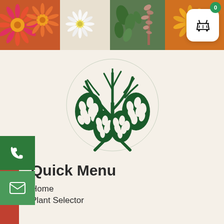[Figure (photo): Colorful flower photo strip banner across the top of the page]
[Figure (logo): Windy Willows Wholesale Nursery logo — dark green stylized tree/willow SVG icon]
WINDY WILLOWS WHOLESALE NURSERY
Quick Menu
Home
Plant Selector